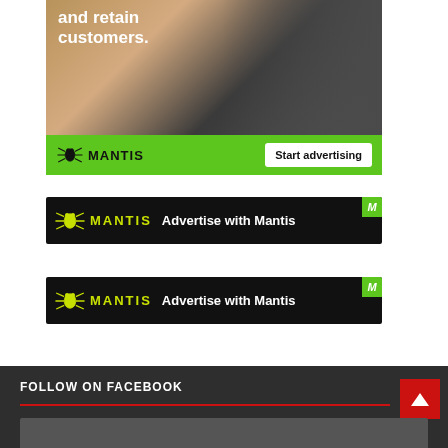[Figure (photo): Mantis advertising banner with woman on phone and green bar showing logo and 'Start advertising' button]
[Figure (photo): Mantis dark banner ad: yellow bug logo, MANTIS text, 'Advertise with Mantis', green M badge top right]
[Figure (photo): Mantis dark banner ad (second): yellow bug logo, MANTIS text, 'Advertise with Mantis', green M badge top right]
FOLLOW ON FACEBOOK